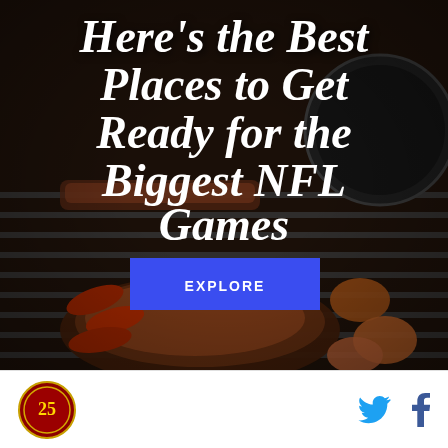[Figure (photo): Barbecue grill loaded with meats including brisket, sausages, and other cuts. Bold white italic text overlay reads: Here's the Best Places to Get Ready for the Biggest NFL Games. Blue EXPLORE button in center.]
[Figure (logo): Circular red and gold logo in footer bar on the left]
[Figure (other): Twitter bird icon and Facebook f icon social share buttons in footer bar on the right]